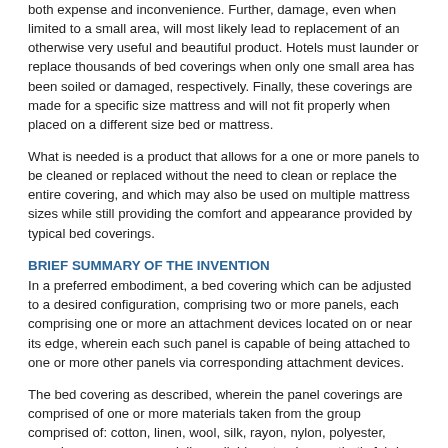both expense and inconvenience. Further, damage, even when limited to a small area, will most likely lead to replacement of an otherwise very useful and beautiful product. Hotels must launder or replace thousands of bed coverings when only one small area has been soiled or damaged, respectively. Finally, these coverings are made for a specific size mattress and will not fit properly when placed on a different size bed or mattress.
What is needed is a product that allows for a one or more panels to be cleaned or replaced without the need to clean or replace the entire covering, and which may also be used on multiple mattress sizes while still providing the comfort and appearance provided by typical bed coverings.
BRIEF SUMMARY OF THE INVENTION
In a preferred embodiment, a bed covering which can be adjusted to a desired configuration, comprising two or more panels, each comprising one or more an attachment devices located on or near its edge, wherein each such panel is capable of being attached to one or more other panels via corresponding attachment devices.
The bed covering as described, wherein the panel coverings are comprised of one or more materials taken from the group comprised of: cotton, linen, wool, silk, rayon, nylon, polyester, spandex or any commercially available natural or synthetic fabric equivalent.
The bed covering as described, wherein each panel is a shape taken from